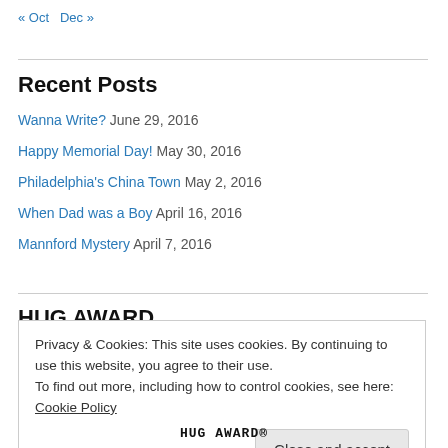« Oct   Dec »
Recent Posts
Wanna Write? June 29, 2016
Happy Memorial Day! May 30, 2016
Philadelphia's China Town May 2, 2016
When Dad was a Boy April 16, 2016
Mannford Mystery April 7, 2016
HUG AWARD
Privacy & Cookies: This site uses cookies. By continuing to use this website, you agree to their use.
To find out more, including how to control cookies, see here: Cookie Policy
Close and accept
[Figure (logo): HUG AWARD logo with text and graphic at bottom of page]